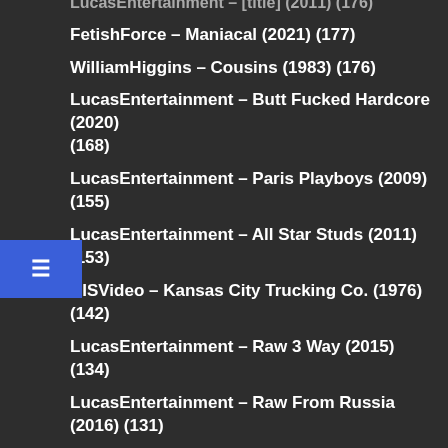LucasEntertainment – [title] (2011) (176)
FetishForce – Maniacal (2021) (177)
WilliamHiggins – Cousins (1983) (176)
LucasEntertainment – Butt Fucked Hardcore (2020) (168)
LucasEntertainment – Paris Playboys (2009) (155)
LucasEntertainment – All Star Studs (2011) (153)
HISVideo – Kansas City Trucking Co. (1976) (142)
LucasEntertainment – Raw 3 Way (2015) (134)
LucasEntertainment – Raw From Russia (2016) (131)
HISVideo – L.A. Tool & Die (1979) (131)
LucasEntertainment – Bareback Boyfriend Swap (2015) (125)
AlphaMales – Twisted Web (2007) (116)
HISVideo – El Paso Wrecking Corp. (1978) (115)
Bromo – Johnny Rapid Goes Bareback (2015) (114)
LucasEntertainment – Bareback Auditions 12:… (106)
LucasEntertainment – Gentlemen 29: Servicing… (101)
SeanCody – Horny Hunks (2021) (101)